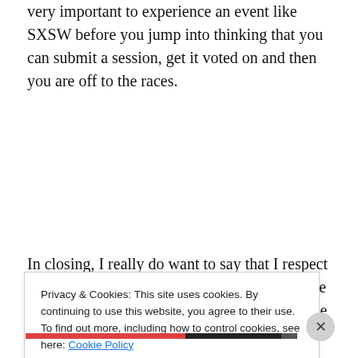very important to experience an event like SXSW before you jump into thinking that you can submit a session, get it voted on and then you are off to the races.
In closing, I really do want to say that I respect all of the speakers at SXSW. It is easy to judge coming from the outside. I just hope that in the future, that we can improve the quality of the sessions.
Privacy & Cookies: This site uses cookies. By continuing to use this website, you agree to their use.
To find out more, including how to control cookies, see here: Cookie Policy
Close and accept